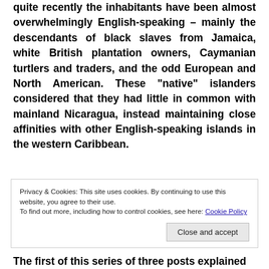quite recently the inhabitants have been almost overwhelmingly English-speaking – mainly the descendants of black slaves from Jamaica, white British plantation owners, Caymanian turtlers and traders, and the odd European and North American. These “native” islanders considered that they had little in common with mainland Nicaragua, instead maintaining close affinities with other English-speaking islands in the western Caribbean.
Privacy & Cookies: This site uses cookies. By continuing to use this website, you agree to their use.
To find out more, including how to control cookies, see here: Cookie Policy
Close and accept
The first of this series of three posts explained